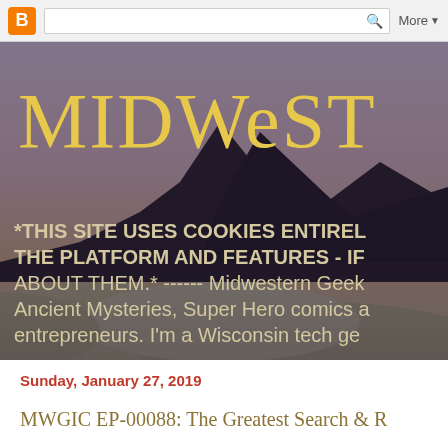Blogger navigation bar with B icon, search box, and More dropdown
[Figure (screenshot): Blogger website header banner showing 'MIDWEST' title in large yellow serif font over a scenic landscape photo with mountains, desert sand dunes and sunset/dusk sky. Overlay text reads: *THIS SITE USES COOKIES ENTIRELY THE PLATFORM AND FEATURES - IF ABOUT THEM.* ------ Midwestern Geek Ancient Mysteries, Super Hero comics entrepreneurs. I'm a Wisconsin tech ge]
Sunday, January 27, 2019
MWGIC EP-00088: The Greatest Search & R